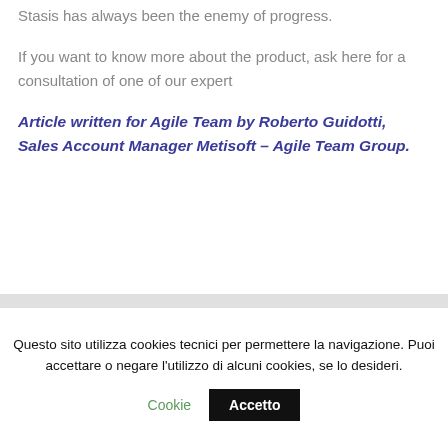Stasis has always been the enemy of progress.
If you want to know more about the product, ask here for a consultation of one of our expert
Article written for Agile Team by Roberto Guidotti, Sales Account Manager Metisoft – Agile Team Group.
Questo sito utilizza cookies tecnici per permettere la navigazione. Puoi accettare o negare l'utilizzo di alcuni cookies, se lo desideri.